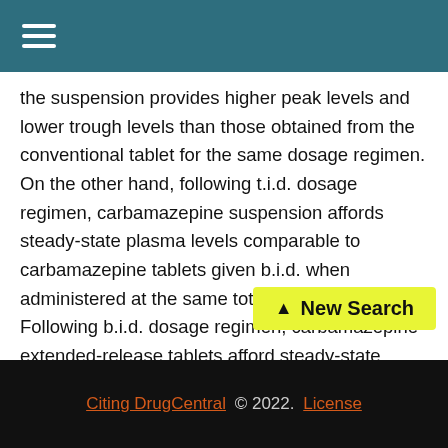≡ (navigation menu icon)
the suspension provides higher peak levels and lower trough levels than those obtained from the conventional tablet for the same dosage regimen. On the other hand, following t.i.d. dosage regimen, carbamazepine suspension affords steady-state plasma levels comparable to carbamazepine tablets given b.i.d. when administered at the same total mg daily dose. Following b.i.d. dosage regimen, carbamazepine extended-release tablets afford steady-state plasma levels comparable to conventional carbamazepine tablets given q.i.d., when administered at the same total mg daily dose. Carba... 76% bound to plasma proteins. Plasm...
[Figure (other): New Search button with upward arrow, yellow-green background]
Citing DrugCentral © 2022. License